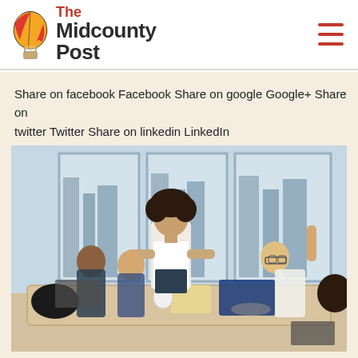The Midcounty Post
Share on facebook Facebook Share on google Google+ Share on twitter Twitter Share on linkedin LinkedIn
[Figure (photo): A woman with curly hair stands at a conference table, leaning forward and presenting to a group of colleagues in a modern office with large windows. Several people are seated around the table, one with raised hand. A blue folder and laptop are on the table.]